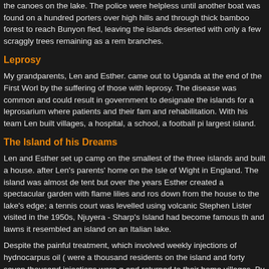the canoes on the lake. The police were helpless until another boat was found on a hundred porters over high hills and through thick bamboo forest to reach Bunyon fled, leaving the islands deserted with only a few scraggly trees remaining as a rem branches.
Leprosy
My grandparents, Len and Esther. came out to Uganda at the end of the First Worl by the suffering of those with leprosy. The disease was common and could result in government to designate the islands for a leprosarium where patients and their fam and rehabilitation. With his team Len built villages, a hospital, a school, a football pi largest island.
The Island of his Dreams
Len and Esther set up camp on the smallest of the three islands and built a house. after Len's parents' home on the Isle of Wight in England. The island was almost de tent but over the years Esther created a spectacular garden with flame lilies and ro down from the house to the lake's edge; a tennis court was levelled using volcanic Stephen Lister visited in the 1950s, Njuyera - Sharp's Island had become famous th and lawns it resembled an island on an Italian lake.
Despite the painful treatment, which involved weekly injections of hydnocarpus oil ( were a thousand residents on the island and forty seven thousand injections were g and returned to their home villages. By the mid 1950s advances in medical treatme mainland to be treated in local clinics. Len and Esther left Njuyera - Sharp's Island returning to Britain.
Paddle out
Now owned by the Church of Uganda, the island is open to tourists and still has its